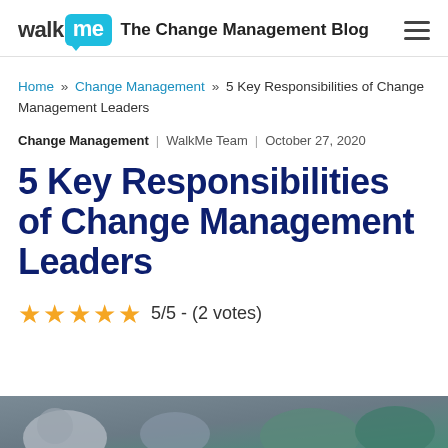walk me The Change Management Blog
Home » Change Management » 5 Key Responsibilities of Change Management Leaders
Change Management | WalkMe Team | October 27, 2020
5 Key Responsibilities of Change Management Leaders
5/5 - (2 votes)
[Figure (photo): Partial photo strip at bottom of page showing people]